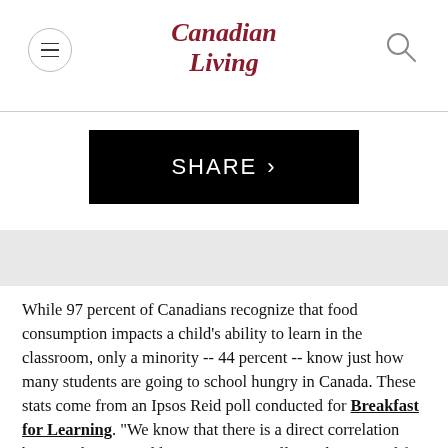Canadian Living
SHARE >
While 97 percent of Canadians recognize that food consumption impacts a child's ability to learn in the classroom, only a minority -- 44 percent -- know just how many students are going to school hungry in Canada. These stats come from an Ipsos Reid poll conducted for Breakfast for Learning. "We know that there is a direct correlation between hunger and learning," says Kelly Berlinic, Breakfast for Learning's Director of Community Development. "Breakfast for